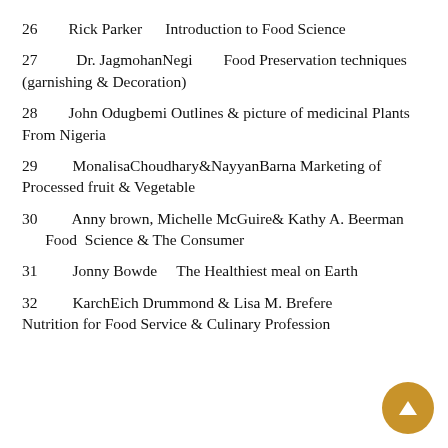26    Rick Parker    Introduction to Food Science
27    Dr. JagmohanNegi    Food Preservation techniques (garnishing & Decoration)
28    John Odugbemi Outlines & picture of medicinal Plants From Nigeria
29    MonalisaChoudhary&NayyanBarna Marketing of Processed fruit & Vegetable
30    Anny brown, Michelle McGuire& Kathy A. Beerman    Food  Science & The Consumer
31    Jonny Bowde    The Healthiest meal on Earth
32    KarchEich Drummond & Lisa M. Brefere Nutrition for Food Service & Culinary Profession